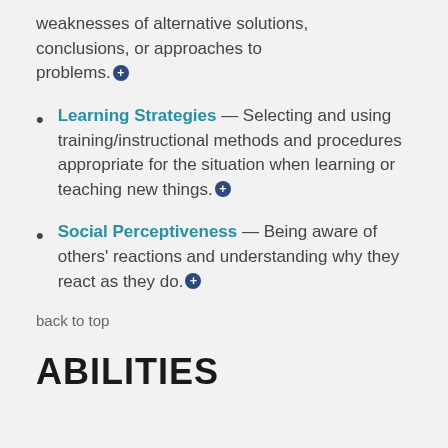weaknesses of alternative solutions, conclusions, or approaches to problems.
Learning Strategies — Selecting and using training/instructional methods and procedures appropriate for the situation when learning or teaching new things.
Social Perceptiveness — Being aware of others' reactions and understanding why they react as they do.
back to top
ABILITIES